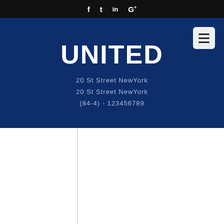f  t  in  G+
UNITED
20 St Street NewYork
20 St Street NewYork
(84-4) - 123456789